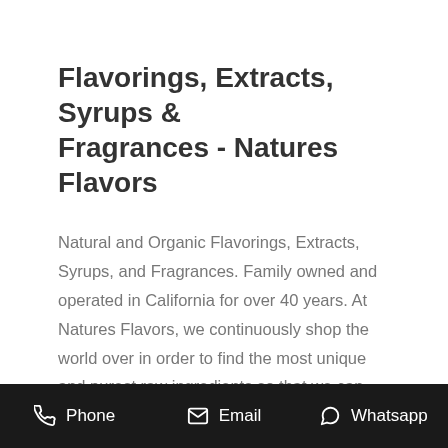Flavorings, Extracts, Syrups & Fragrances - Natures Flavors
Natural and Organic Flavorings, Extracts, Syrups, and Fragrances. Family owned and operated in California for over 40 years. At Natures Flavors, we continuously shop the world over in order to find the most unique and purest raw ingredients so that we can bring you new, exciting, and innovative all natural and organic flavorings, fragrances,
Phone  Email  Whatsapp